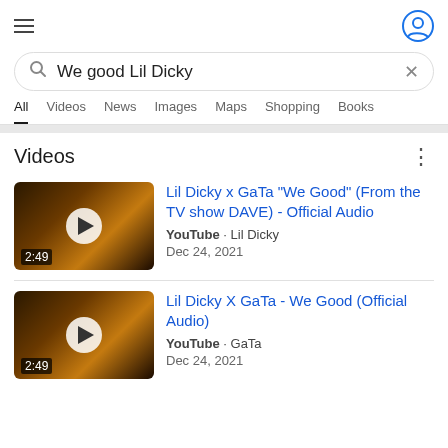[Figure (screenshot): Google mobile search screenshot showing search for 'We good Lil Dicky' with video results]
We good Lil Dicky
All
Videos
News
Images
Maps
Shopping
Books
Videos
Lil Dicky x GaTa "We Good" (From the TV show DAVE) - Official Audio
YouTube · Lil Dicky
Dec 24, 2021
Lil Dicky X GaTa - We Good (Official Audio)
YouTube · GaTa
Dec 24, 2021